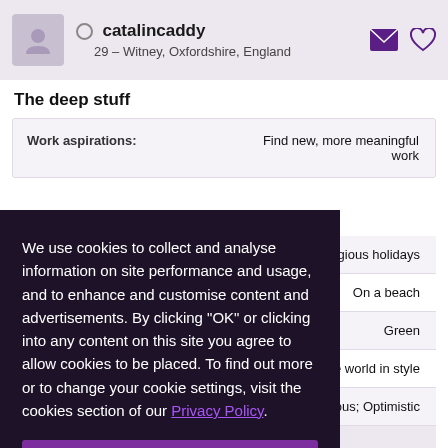catalincaddy
29 – Witney, Oxfordshire, England
The deep stuff
| Field | Value |
| --- | --- |
| Work aspirations: | Find new, more meaningful work |
|  | eligious holidays |
|  | On a beach |
|  | Green |
|  | he world in style |
|  | rious; Optimistic |
We use cookies to collect and analyse information on site performance and usage, and to enhance and customise content and advertisements. By clicking "OK" or clicking into any content on this site you agree to allow cookies to be placed. To find out more or to change your cookie settings, visit the cookies section of our Privacy Policy.